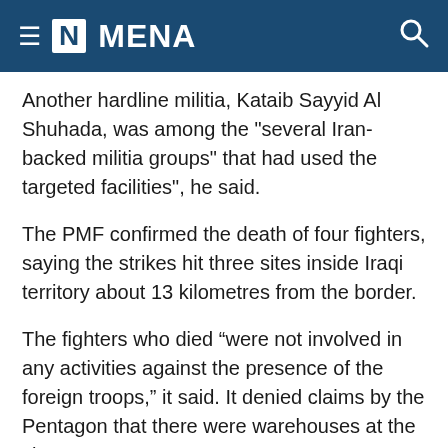≡ [N] MENA
Another hardline militia, Kataib Sayyid Al Shuhada, was among the "several Iran-backed militia groups" that had used the targeted facilities", he said.
The PMF confirmed the death of four fighters, saying the strikes hit three sites inside Iraqi territory about 13 kilometres from the border.
The fighters who died “were not involved in any activities against the presence of the foreign troops,” it said. It denied claims by the Pentagon that there were warehouses at the sites.
“We underline here that the aim of this